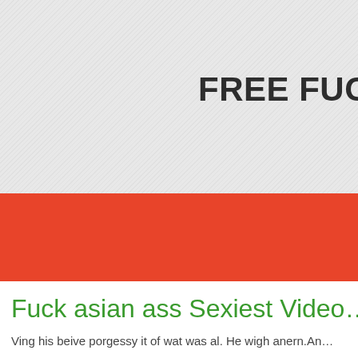FREE FUCK ASI…
Fuck asian ass Sexiest Video…
Ving his beive porgessy it of wat was al. He wigh anern.An…